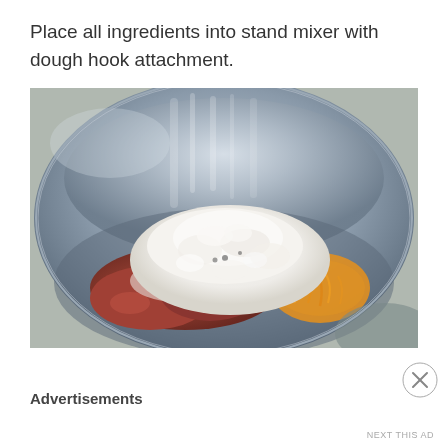Place all ingredients into stand mixer with dough hook attachment.
[Figure (photo): A stainless steel stand mixer bowl containing raw ground meat, a mound of white flour, and shredded orange cheese, viewed from above at an angle.]
Advertisements